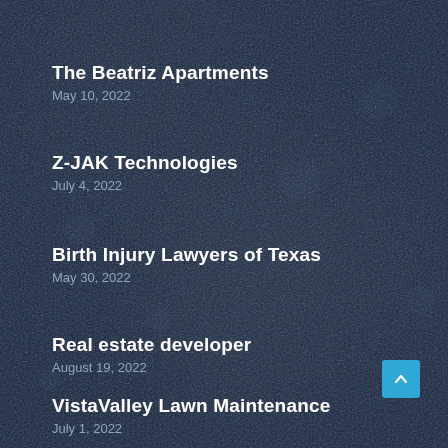The Beatriz Apartments
May 10, 2022
Z-JAK Technologies
July 4, 2022
Birth Injury Lawyers of Texas
May 30, 2022
Real estate developer
August 19, 2022
VistaValley Lawn Maintenance
July 1, 2022